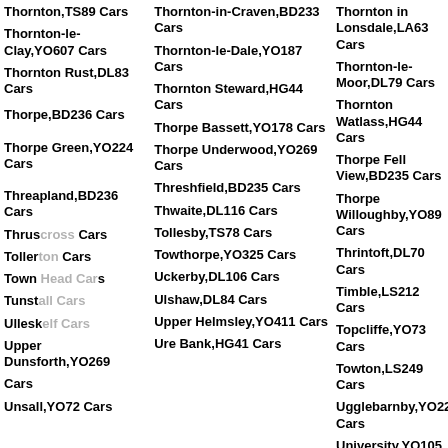Thornton,TS89 Cars
Thornton-in-Craven,BD233 Cars
Thornton in Lonsdale,LA63 Cars
Thornton-le-Clay,YO607 Cars
Thornton-le-Dale,YO187 Cars
Thornton-le-Moor,DL79 Cars
Thornton Rust,DL83 Cars
Thornton Steward,HG44 Cars
Thornton Watlass,HG44 Cars
Thorpe,BD236 Cars
Thorpe Bassett,YO178 Cars
Thorpe Fell View,BD235 Cars
Thorpe Green,YO224 Cars
Thorpe Underwood,YO269 Cars
Thorpe Willoughby,YO89 Cars
Threapland,BD236 Cars
Threshfield,BD235 Cars
Thrintoft,DL70 Cars
Thruscross Cars
Thwaite,DL116 Cars
Timble,LS212 Cars
Tollerton Cars
Tollesby,TS78 Cars
Topcliffe,YO73 Cars
Town Head Cars
Towthorpe,YO325 Cars
Towton,LS249 Cars
Tunstall Cars
Uckerby,DL106 Cars
Ugglebarnby,YO225 Cars
Ulleskelf Cars
Ulshaw,DL84 Cars
University,YO105 Cars
Upper Dunsforth,YO269 Cars
Upper Helmsley,YO411 Cars
Upper Poppleton,YO266 Cars
Unsall,YO72 Cars
Ure Bank,HG41 Cars
Urra,TS97 Cars